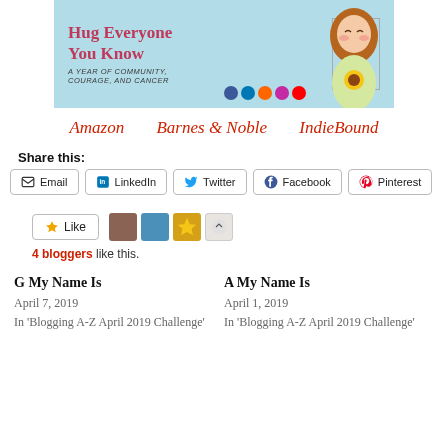[Figure (illustration): Book cover banner for 'Hug Everyone You Know: A Year of Community, Courage, and Cancer' with illustrated girl and social media icons]
Amazon   Barnes & Noble   IndieBound
Share this:
Email  LinkedIn  Twitter  Facebook  Pinterest
Like  [avatars]  4 bloggers like this.
G My Name Is
April 7, 2019
In 'Blogging A-Z April 2019 Challenge'
A My Name Is
April 1, 2019
In 'Blogging A-Z April 2019 Challenge'